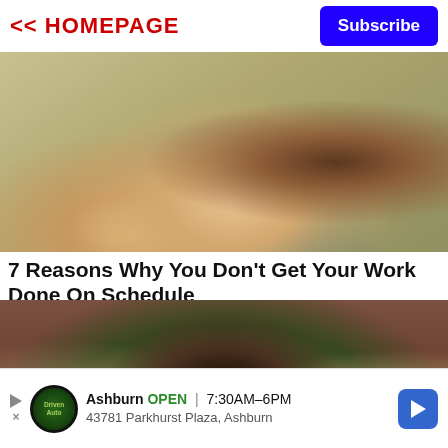<< HOMEPAGE
Subscribe
[Figure (photo): Close-up photo of a woman with brown wavy hair wearing a floral top, hand raised near her face]
7 Reasons Why You Don't Get Your Work Done On Schedule
[Figure (photo): Scene from a TV show with three people in beige prison uniforms outdoors, center person has short dark hair styled back]
Ashburn OPEN 7:30AM–6PM 43781 Parkhurst Plaza, Ashburn